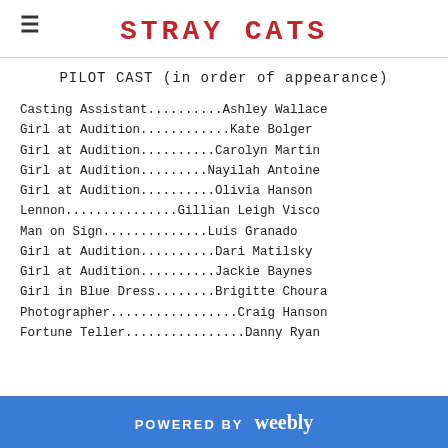STRAY CATS
PILOT CAST (in order of appearance)
Casting Assistant.........Ashley Wallace
Girl at Audition...........Kate Bolger
Girl at Audition..........Carolyn Martin
Girl at Audition..........Nayilah Antoine
Girl at Audition...........Olivia Hanson
Lennon.................Gillian Leigh Visco
Man on Sign...............Luis Granado
Girl at Audition...........Dari Matilsky
Girl at Audition...........Jackie Baynes
Girl in Blue Dress........Brigitte Choura
Photographer..................Craig Hanson
Fortune Teller.................Danny Ryan
POWERED BY weebly